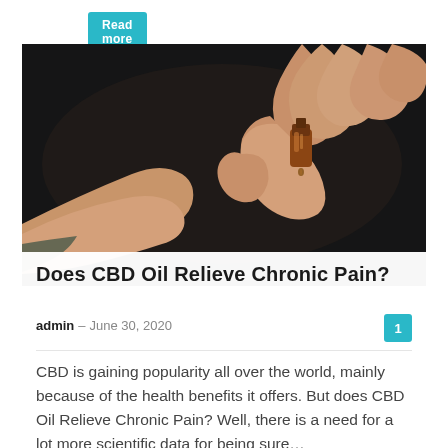Read more
[Figure (photo): Hands holding a small amber dropper bottle of CBD oil, with a dark background]
Does CBD Oil Relieve Chronic Pain?
admin – June 30, 2020
CBD is gaining popularity all over the world, mainly because of the health benefits it offers. But does CBD Oil Relieve Chronic Pain? Well, there is a need for a lot more scientific data for being sure…